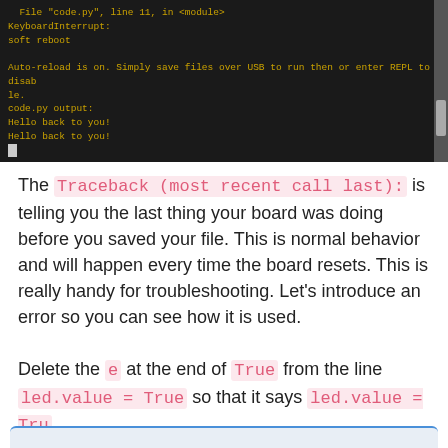[Figure (screenshot): Terminal/REPL output showing a Python traceback with KeyboardInterrupt, soft reboot, auto-reload message, and code.py output with 'Hello back to you!' repeated twice.]
The Traceback (most recent call last): is telling you the last thing your board was doing before you saved your file. This is normal behavior and will happen every time the board resets. This is really handy for troubleshooting. Let's introduce an error so you can see how it is used.
Delete the e at the end of True from the line led.value = True so that it says led.value = Tru